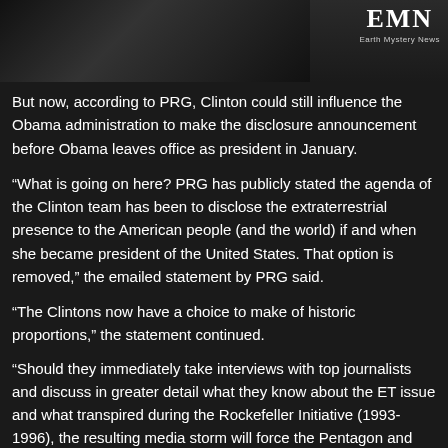[Figure (photo): Partial photo of a person in dark clothing, cropped at top. EMN (Earth Mystery News) logo in top right corner.]
But now, according to PRG, Clinton could still influence the Obama administration to make the disclosure announcement before Obama leaves office as president in January.
“What is going on here? PRG has publicly stated the agenda of the Clinton team has been to disclose the extraterrestrial presence to the American people (and the world) if and when she became president of the United States. That option is removed,” the emailed statement by PRG said.
“The Clintons now have a choice to make of historic proportions,” the statement continued.
“Should they immediately take interviews with top journalists and discuss in greater detail what they know about the ET issue and what transpired during the Rockefeller Initiative (1993-1996), the resulting media storm will force the Pentagon and the White House to reach the necessary understanding allowing Barack Obama to be the Disclosure president.”